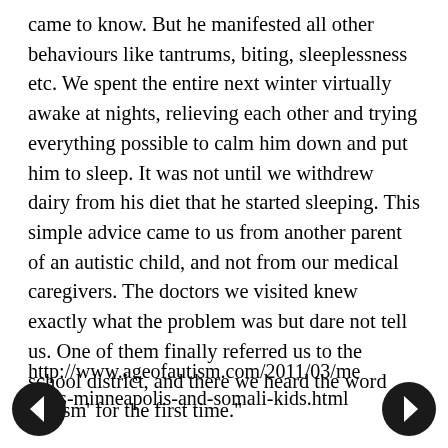came to know. But he manifested all other behaviours like tantrums, biting, sleeplessness etc. We spent the entire next winter virtually awake at nights, relieving each other and trying everything possible to calm him down and put him to sleep. It was not until we withdrew dairy from his diet that he started sleeping. This simple advice came to us from another parent of an autistic child, and not from our medical caregivers. The doctors we visited knew exactly what the problem was but dare not tell us. One of them finally referred us to the school district, and there we heard the word 'autism' for the first time."
http://www.ageofautism.com/2011/03/measles-minneapolis-and-somali-kids.html